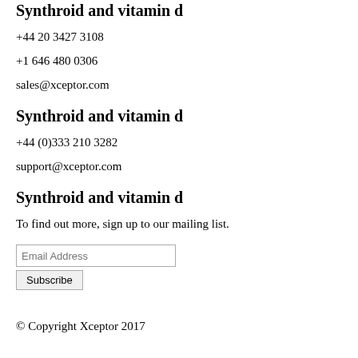Synthroid and vitamin d
+44 20 3427 3108
+1 646 480 0306
sales@xceptor.com
Synthroid and vitamin d
+44 (0)333 210 3282
support@xceptor.com
Synthroid and vitamin d
To find out more, sign up to our mailing list.
© Copyright Xceptor 2017